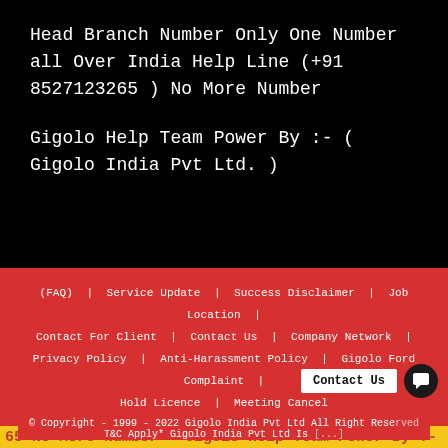Head Branch Number Only One Number all Over India Help Line  (+91 8527123265 ) No More Number
Gigolo Help Team Power By :- ( Gigolo India Pvt Ltd. )
(FAQ)  |  Service Update  |  Success Disclaimer  |  Job Location  |  Contact For Client  |  Contact Us  |  Company Network  |  Privacy Policy  |  Anti-Harassment Policy  |  Gigolo Ford Complaint  |  Hold Licence  |  Meeting Cancel
© Copyright - 1999 - 2022 Gigolo India Pvt Ltd All Right Reserved T&C Apply* Gigolo India Pvt Ltd Is [...]
65 No More Number  Gigolo Help Team Power By :- ( Gig  □  In